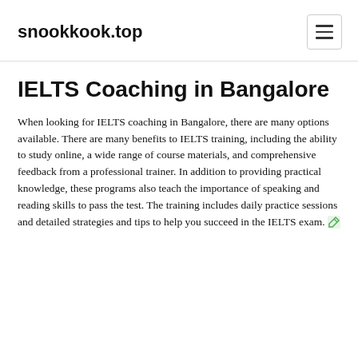snookkook.top
IELTS Coaching in Bangalore
When looking for IELTS coaching in Bangalore, there are many options available. There are many benefits to IELTS training, including the ability to study online, a wide range of course materials, and comprehensive feedback from a professional trainer. In addition to providing practical knowledge, these programs also teach the importance of speaking and reading skills to pass the test. The training includes daily practice sessions and detailed strategies and tips to help you succeed in the IELTS exam.